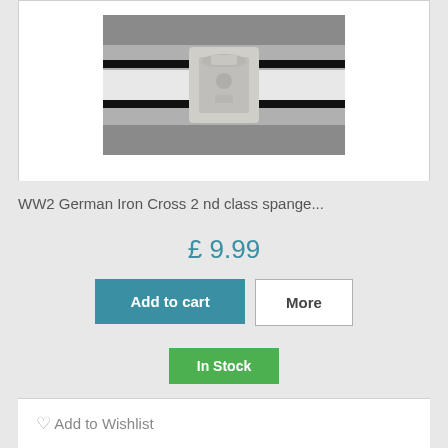[Figure (photo): A WW2 German Iron Cross 2nd class medal with spange, silver colored, on a black and white ribbon, photographed on a grey background.]
WW2 German Iron Cross 2 nd class spange...
£ 9.99
Add to cart
More
In Stock
Add to Wishlist